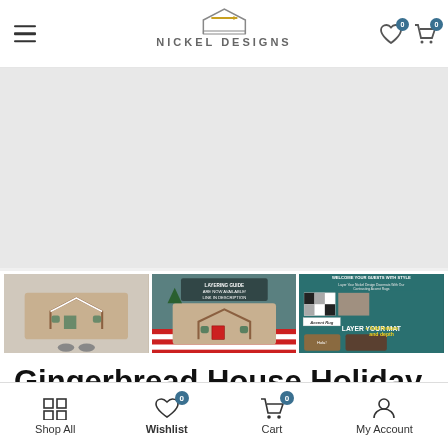Nickel Designs — navigation header with hamburger menu, logo, heart/cart icons
[Figure (photo): Gingerbread House Holiday Doormat product gallery: main large image (light/empty placeholder area), three thumbnail images below — (1) doormat with gingerbread house design close-up indoors, (2) doormat displayed outdoors with Christmas decorations and red stripes, (3) informational layering guide graphic showing how to layer mats with accent rug]
Gingerbread House Holiday Doormat
Shop All   Wishlist 0   Cart 0   My Account